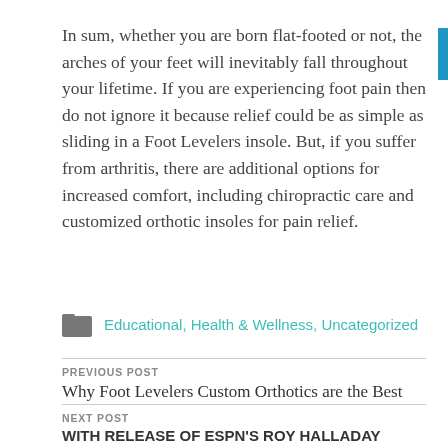In sum, whether you are born flat-footed or not, the arches of your feet will inevitably fall throughout your lifetime. If you are experiencing foot pain then do not ignore it because relief could be as simple as sliding in a Foot Levelers insole. But, if you suffer from arthritis, there are additional options for increased comfort, including chiropractic care and customized orthotic insoles for pain relief.
Educational, Health & Wellness, Uncategorized
PREVIOUS POST
Why Foot Levelers Custom Orthotics are the Best
NEXT POST
WITH RELEASE OF ESPN'S ROY HALLADAY DOCUMENTARY, FOOT LEVELERS URGES CONSERVATIVE CARE FOR PAIN TREATMENT